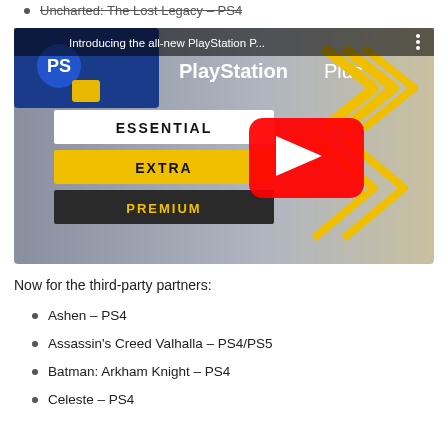Uncharted: The Lost Legacy – PS4
[Figure (screenshot): YouTube video thumbnail for 'Introducing the all-new PlayStation P...' showing PlayStation Plus logo with three tiers: ESSENTIAL, EXTRA, PREMIUM on a grey/yellow background with a red YouTube play button overlay.]
Now for the third-party partners:
Ashen – PS4
Assassin's Creed Valhalla – PS4/PS5
Batman: Arkham Knight – PS4
Celeste – PS4